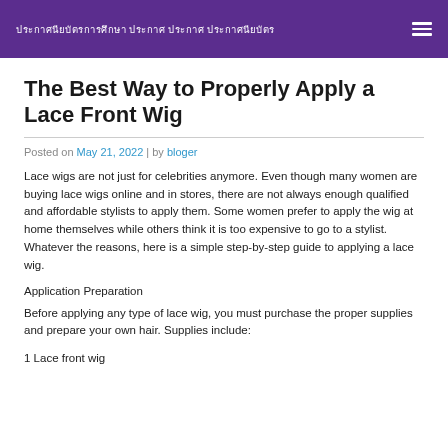ประกาศนียบัตรการศึกษา ประกาศ ประกาศ ประกาศนียบัตร
The Best Way to Properly Apply a Lace Front Wig
Posted on May 21, 2022 | by bloger
Lace wigs are not just for celebrities anymore. Even though many women are buying lace wigs online and in stores, there are not always enough qualified and affordable stylists to apply them. Some women prefer to apply the wig at home themselves while others think it is too expensive to go to a stylist. Whatever the reasons, here is a simple step-by-step guide to applying a lace wig.
Application Preparation
Before applying any type of lace wig, you must purchase the proper supplies and prepare your own hair. Supplies include:
1 Lace front wig